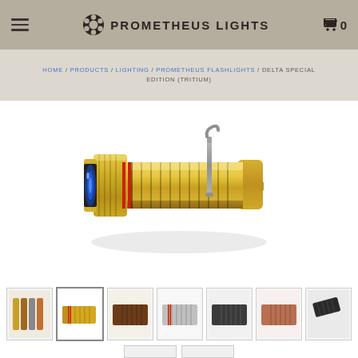PROMETHEUS LIGHTS
HOME / PRODUCTS / LIGHTING / PROMETHEUS FLASHLIGHTS / DELTA SPECIAL EDITION (TRITIUM)
[Figure (photo): Gold/brass colored Delta Special Edition flashlight with red accent rings near the lens end, blue lens, ridged grip body, and a titanium clip. Shot on white background at an angle.]
[Figure (photo): Thumbnail 1: Multiple flashlight variants side by side showing different colors]
[Figure (photo): Thumbnail 2: Gold/brass flashlight (selected) - same as main image]
[Figure (photo): Thumbnail 3: Brown/copper toned flashlight close-up]
[Figure (photo): Thumbnail 4: Silver/grey flashlight]
[Figure (photo): Thumbnail 5: Dark/black flashlight]
[Figure (photo): Thumbnail 6: Copper/rose gold flashlight]
[Figure (photo): Thumbnail 7: Dark flashlight angled view]